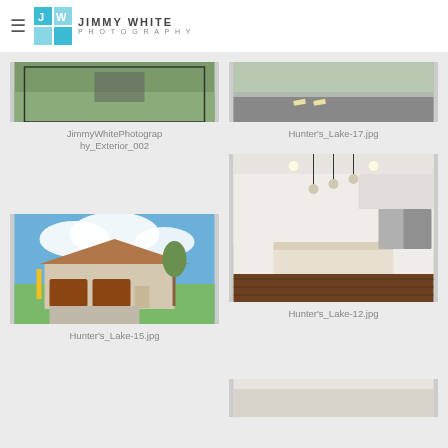Jimmy White Photography
JimmyWhitePhotography_Exterior_002
Hunter's_Lake-17.jpg
Hunter's_Lake-15.jpg
Hunter's_Lake-12.jpg